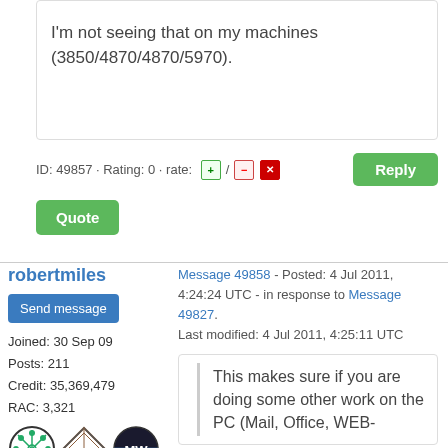I'm not seeing that on my machines (3850/4870/4870/5970).
ID: 49857 · Rating: 0 · rate:
Quote
robertmiles
Send message
Joined: 30 Sep 09
Posts: 211
Credit: 35,369,479
RAC: 3,321
Message 49858 - Posted: 4 Jul 2011, 4:24:24 UTC - in response to Message 49827.
Last modified: 4 Jul 2011, 4:25:11 UTC
This makes sure if you are doing some other work on the PC (Mail, Office, WEB-